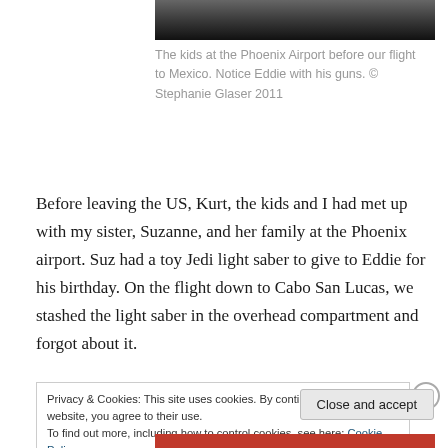[Figure (photo): Bottom portion of a photo of kids at Phoenix Airport, cropped at top]
The kids at the Phoenix Airport before our flight to Mexico. Notice Eddie with his guns. © Stephanie Glaser 2011
Before leaving the US, Kurt, the kids and I had met up with my sister, Suzanne, and her family at the Phoenix airport. Suz had a toy Jedi light saber to give to Eddie for his birthday. On the flight down to Cabo San Lucas, we stashed the light saber in the overhead compartment and forgot about it.
Privacy & Cookies: This site uses cookies. By continuing to use this website, you agree to their use.
To find out more, including how to control cookies, see here: Cookie Policy
Close and accept